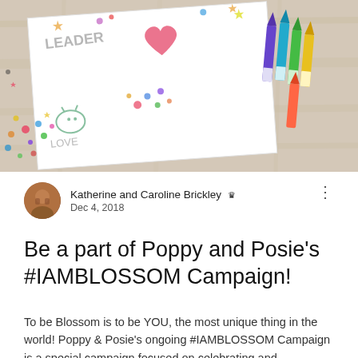[Figure (photo): Photo of a child's hand-drawn artwork on white paper placed on a wooden table, surrounded by colorful crayons and confetti dots. The drawing includes a heart shape, the words 'LEADER', 'LOVE', colorful stickers and small illustrations.]
Katherine and Caroline Brickley 👑
Dec 4, 2018
Be a part of Poppy and Posie's #IAMBLOSSOM Campaign!
To be Blossom is to be YOU, the most unique thing in the world! Poppy & Posie's ongoing #IAMBLOSSOM Campaign is a special campaign focused on celebrating and highlighting the one-of-a-kind qualities that make each and every one of us Blossom. Have your child take part in this